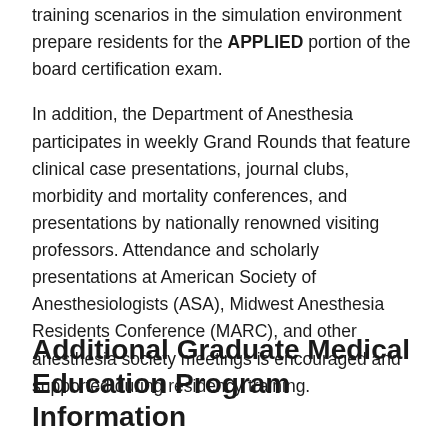training scenarios in the simulation environment prepare residents for the APPLIED portion of the board certification exam.
In addition, the Department of Anesthesia participates in weekly Grand Rounds that feature clinical case presentations, journal clubs, morbidity and mortality conferences, and presentations by nationally renowned visiting professors. Attendance and scholarly presentations at American Society of Anesthesiologists (ASA), Midwest Anesthesia Residents Conference (MARC), and other anesthesia society meetings is encouraged and supported during residency training.
Additional Graduate Medical Education Program Information